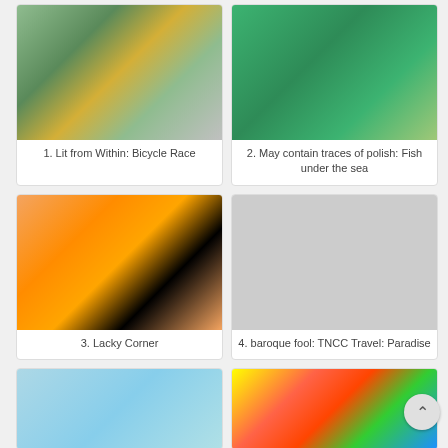[Figure (photo): Close-up of nails with intricate green glitter and gold jewel nail art decoration]
1. Lit from Within: Bicycle Race
[Figure (photo): Close-up of bright green nails with fish under the sea nail art design and nail polish bottle]
2. May contain traces of polish: Fish under the sea
[Figure (photo): Close-up of orange nails with black stripe and silhouette nail art design]
3. Lacky Corner
[Figure (photo): Close-up of nails with silver and green splatter baroque nail art with China Glaze bottle]
4. baroque fool: TNCC Travel: Paradise
[Figure (photo): Close-up of light blue nails with simple nail art design]
[Figure (photo): Close-up of tropical sunset nails with palm tree silhouette nail art]